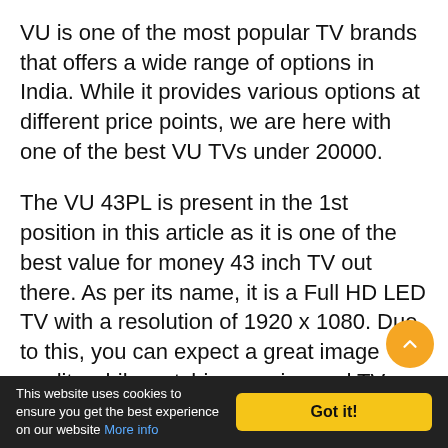VU is one of the most popular TV brands that offers a wide range of options in India. While it provides various options at different price points, we are here with one of the best VU TVs under 20000.
The VU 43PL is present in the 1st position in this article as it is one of the best value for money 43 inch TV out there. As per its name, it is a Full HD LED TV with a resolution of 1920 x 1080. Due to this, you can expect a great image quality while watching movies and TV shows on this TV.
This website uses cookies to ensure you get the best experience on our website More info  Got it!